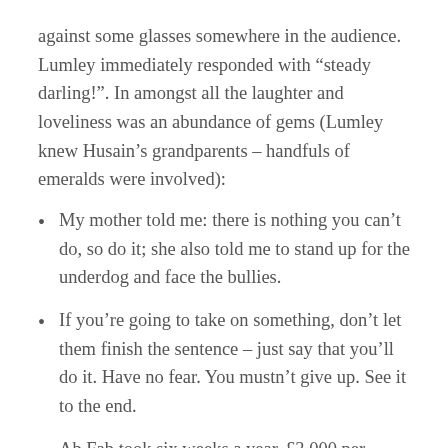against some glasses somewhere in the audience. Lumley immediately responded with “steady darling!". In amongst all the laughter and loveliness was an abundance of gems (Lumley knew Husain’s grandparents – handfuls of emeralds were involved):
My mother told me: there is nothing you can’t do, so do it; she also told me to stand up for the underdog and face the bullies.
If you’re going to take on something, don’t let them finish the sentence – just say that you’ll do it. Have no fear. You mustn’t give up. See it to the end.
Ab Fab took six weeks a year. £3,000 per episode. £18,000. People should know. They